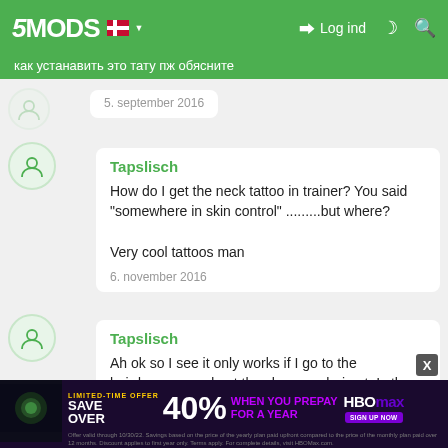5MODS | Log ind
как устанавить это тату пж обясните
5. september 2016
Tapslisch
How do I get the neck tattoo in trainer? You said "somewhere in skin control" .........but where?

Very cool tattoos man
6. november 2016
Tapslisch
Ah ok so I see it only works if I go to the hairdressers and get the shape up haircut. Is there no way to have the neck tattoo replace one of the neck tattoos so I can get it in the tattoo shop and use it with all haircuts and beards?
6. november 2016
[Figure (infographic): HBO Max advertisement banner: LIMITED-TIME OFFER SAVE OVER 40% WHEN YOU PREPAY FOR A YEAR with HBO Max logo and SIGN UP NOW button. Fine print below.]